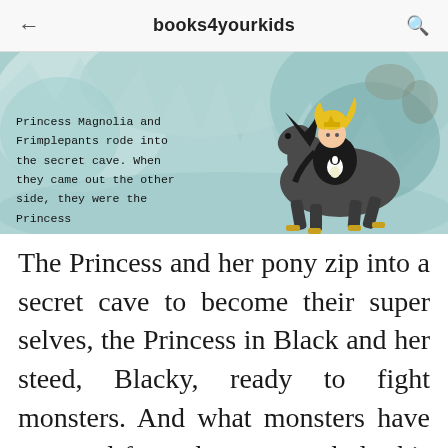books4yourkids
[Figure (illustration): Children's book illustration showing Princess Magnolia riding a dark horse (Frimplepants/Blacky) into a teal/blue cave or icy passage, with text overlay: 'Princess Magnolia and Frimplepants rode into the secret cave. When they came out the other side, they were the Princess']
The Princess and her pony zip into a secret cave to become their super selves, the Princess in Black and her steed, Blacky, ready to fight monsters. And what monsters have emerged from the monster hole this time? A horde of